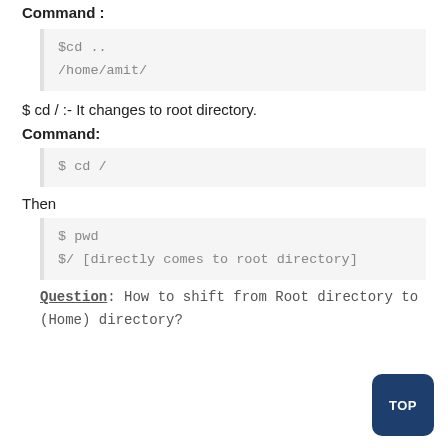Command :
$cd ..
/home/amit/
$ cd / :- It changes to root directory.
Command:
$ cd /
Then
$ pwd
$/ [directly comes to root directory]
Question: How to shift from Root directory to (Home) directory?